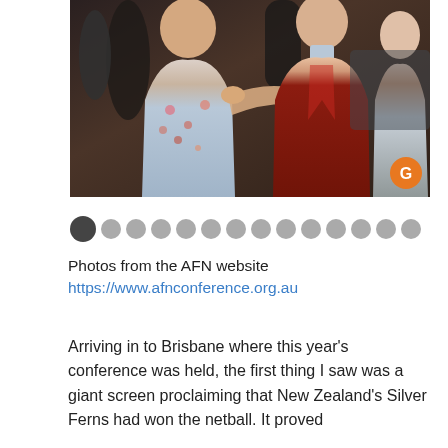[Figure (photo): People greeting each other at the AFN conference event. Two men in the foreground, one in a floral shirt and one in a red jacket, appear to be embracing or shaking hands. Other attendees visible in the background. An orange circular badge with 'G' is visible in the bottom right corner of the photo.]
• • • • • • • • • • • • • • • •  (slideshow navigation dots, first dot darker/active)
Photos from the AFN website
https://www.afnconference.org.au
Arriving in to Brisbane where this year's conference was held, the first thing I saw was a giant screen proclaiming that New Zealand's Silver Ferns had won the netball. It proved